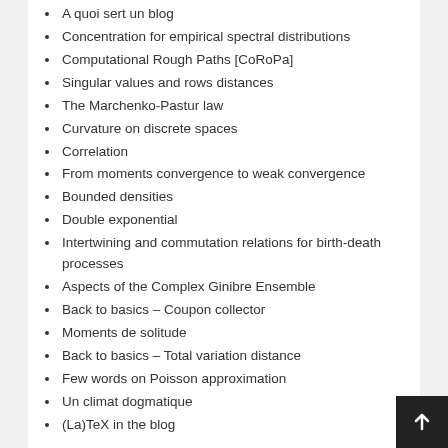A quoi sert un blog
Concentration for empirical spectral distributions
Computational Rough Paths [CoRoPa]
Singular values and rows distances
The Marchenko-Pastur law
Curvature on discrete spaces
Correlation
From moments convergence to weak convergence
Bounded densities
Double exponential
Intertwining and commutation relations for birth-death processes
Aspects of the Complex Ginibre Ensemble
Back to basics – Coupon collector
Moments de solitude
Back to basics – Total variation distance
Few words on Poisson approximation
Un climat dogmatique
(La)TeX in the blog